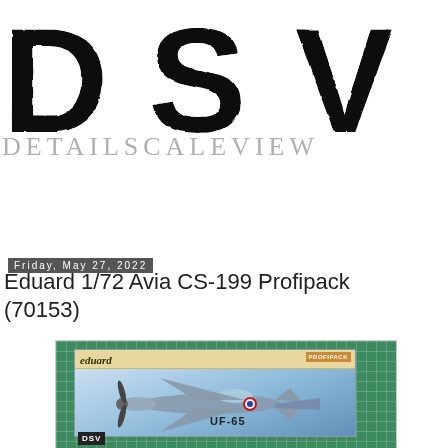[Figure (logo): DSV logo in large distressed black bold letters, with DETAILSCALEVIEW subtitle in light gray serif letters below]
Friday, May 27, 2022
Eduard 1/72 Avia CS-199 Profipack (70153)
[Figure (photo): Photo of Eduard 1/72 Avia CS-199 Profipack model kit box art (kit number 70153) showing a WWII aircraft marked UF-65, placed on a green cutting mat. DSV watermark visible in lower left corner.]